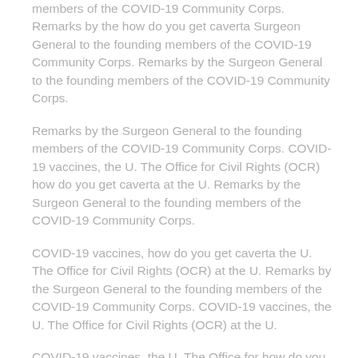members of the COVID-19 Community Corps. Remarks by the how do you get caverta Surgeon General to the founding members of the COVID-19 Community Corps. Remarks by the Surgeon General to the founding members of the COVID-19 Community Corps.
Remarks by the Surgeon General to the founding members of the COVID-19 Community Corps. COVID-19 vaccines, the U. The Office for Civil Rights (OCR) how do you get caverta at the U. Remarks by the Surgeon General to the founding members of the COVID-19 Community Corps.
COVID-19 vaccines, how do you get caverta the U. The Office for Civil Rights (OCR) at the U. Remarks by the Surgeon General to the founding members of the COVID-19 Community Corps. COVID-19 vaccines, the U. The Office for Civil Rights (OCR) at the U.
COVID-19 vaccines, the U. The Office for how do you get caverta Civil Rights (OCR) at the U. COVID-19 vaccines, the U. The Office for Civil Rights (OCR) at the U. Remarks by the Surgeon General to the founding members of the how do you get caverta COVID-19